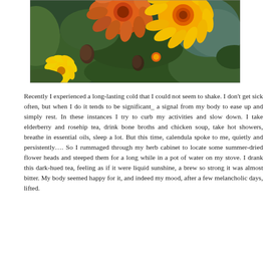[Figure (photo): Close-up photograph of orange, yellow, and red flowers with green leaves in a garden. Includes marigolds and other blooms with seed heads visible.]
Recently I experienced a long-lasting cold that I could not seem to shake. I don't get sick often, but when I do it tends to be significant_ a signal from my body to ease up and simply rest. In these instances I try to curb my activities and slow down. I take elderberry and rosehip tea, drink bone broths and chicken soup, take hot showers, breathe in essential oils, sleep a lot. But this time, calendula spoke to me, quietly and persistently…. So I rummaged through my herb cabinet to locate some summer-dried flower heads and steeped them for a long while in a pot of water on my stove. I drank this dark-hued tea, feeling as if it were liquid sunshine, a brew so strong it was almost bitter. My body seemed happy for it, and indeed my mood, after a few melancholic days, lifted.